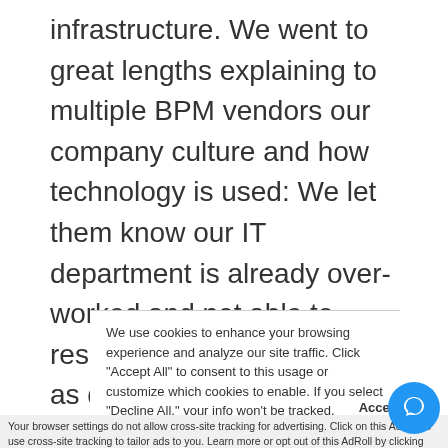infrastructure. We went to great lengths explaining to multiple BPM vendors our company culture and how technology is used: We let them know our IT department is already over-worked and not able to respond to change requests as quickly as they or we would like, that our sales team operates mostly in the field and requires mobile and cloud capabilities, and that our users are getting younger and
We use cookies to enhance your browsing experience and analyze our site traffic. Click "Accept All" to consent to this usage or customize which cookies to enable. If you select "Decline All," your info won't be tracked.
Accept
Your browser settings do not allow cross-site tracking for advertising. Click on this AdRoll to use cross-site tracking to tailor ads to you. Learn more or opt out of this AdRoll by clicking here. This message only appears once.